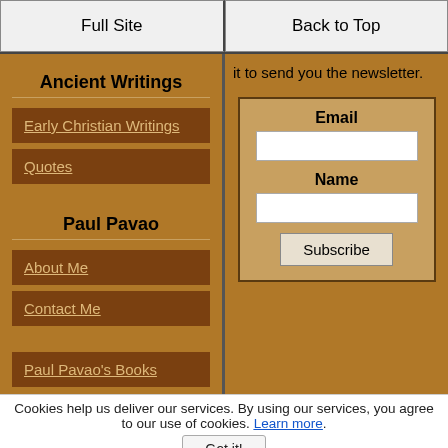Full Site | Back to Top
it to send you the newsletter.
Ancient Writings
Early Christian Writings
Quotes
Paul Pavao
About Me
Contact Me
Paul Pavao's Books
Email
Name
Subscribe
Cookies help us deliver our services. By using our services, you agree to our use of cookies. Learn more.
Got it!